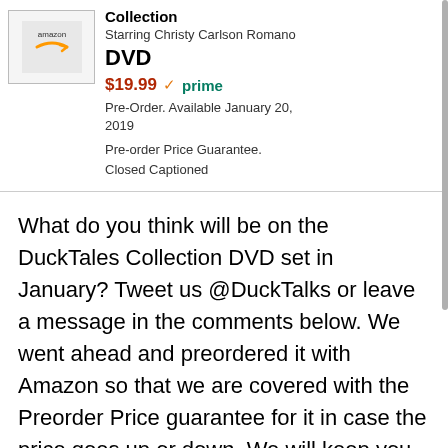[Figure (other): Product thumbnail image placeholder for DuckTales Collection DVD]
Collection
Starring Christy Carlson Romano
DVD
$19.99 ✓prime
Pre-Order. Available January 20, 2019
Pre-order Price Guarantee. Closed Captioned
What do you think will be on the DuckTales Collection DVD set in January? Tweet us @DuckTalks or leave a message in the comments below. We went ahead and preordered it with Amazon so that we are covered with the Preorder Price guarantee for it in case the price goes up or down. We will keep you updated as